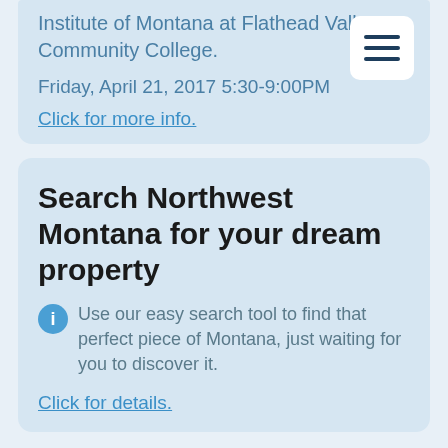Institute of Montana at Flathead Valley Community College.
Friday, April 21, 2017 5:30-9:00PM
Click for more info.
Search Northwest Montana for your dream property
Use our easy search tool to find that perfect piece of Montana, just waiting for you to discover it.
Click for details.